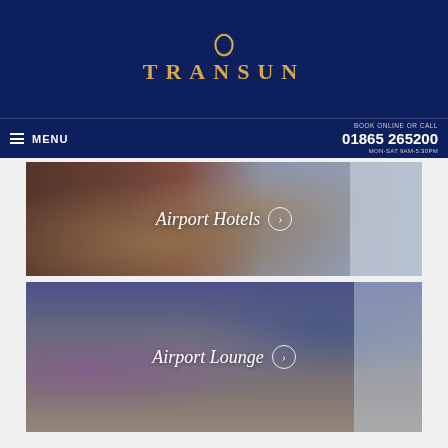[Figure (logo): Transun travel company logo with gold oval O symbol above the word TRANSUN in gold serif letters on dark navy background]
MENU | BOOK ONLINE OR CALL 01865 265200 MON-SAT 9AM-5:30PM
[Figure (photo): Airport hotel room photo showing warm-toned blurred bedroom with white wall/pillar on right, overlaid with text 'Airport Hotels' and chevron circle icon in white]
[Figure (photo): Airport lounge interior photo showing seating area with purple/blue lamp, beige sofa, people visible on left, overlaid with text 'Airport Lounge' and chevron circle icon in white]